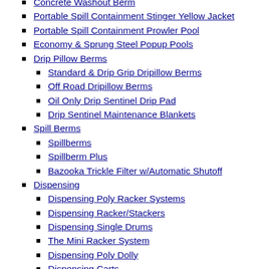Concrete Washout Berm
Portable Spill Containment Stinger Yellow Jacket
Portable Spill Containment Prowler Pool
Economy & Sprung Steel Popup Pools
Drip Pillow Berms
Standard & Drip Grip Dripillow Berms
Off Road Dripillow Berms
Oil Only Drip Sentinel Drip Pad
Drip Sentinel Maintenance Blankets
Spill Berms
Spillberms
Spillberm Plus
Bazooka Trickle Filter w/Automatic Shutoff
Dispensing
Dispensing Poly Racker Systems
Dispensing Racker/Stackers
Dispensing Single Drums
The Mini Racker System
Dispensing Poly Dolly
Dispensing Carts
Horizontal Drum Stacking Systems
Mobile Spill Control Platforms
Dispensing Drums UP